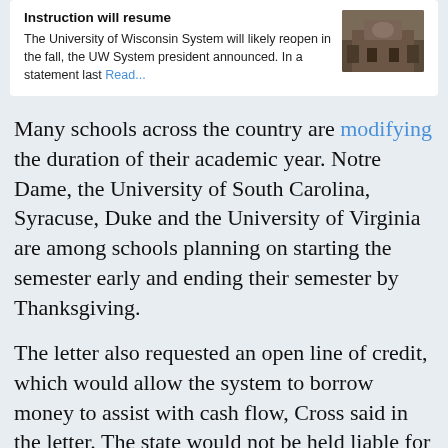Instruction will resume
The University of Wisconsin System will likely reopen in the fall, the UW System president announced. In a statement last Read...
Many schools across the country are modifying the duration of their academic year. Notre Dame, the University of South Carolina, Syracuse, Duke and the University of Virginia are among schools planning on starting the semester early and ending their semester by Thanksgiving.
The letter also requested an open line of credit, which would allow the system to borrow money to assist with cash flow, Cross said in the letter. The state would not be held liable for any debt incurred by the system under such a credit line, instead the UW System would have to pay it.
“This will allow our institutions to use a tool, available